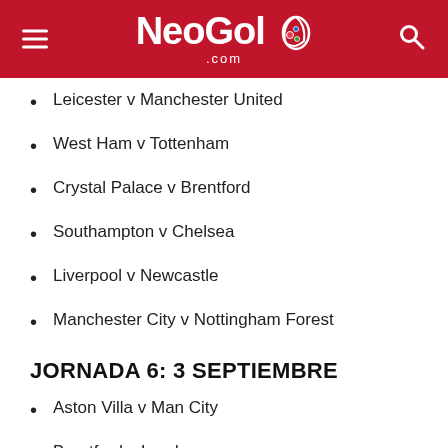NeoGol.com
Leicester v Manchester United
West Ham v Tottenham
Crystal Palace v Brentford
Southampton v Chelsea
Liverpool v Newcastle
Manchester City v Nottingham Forest
JORNADA 6: 3 SEPTIEMBRE
Aston Villa v Man City
Brentford v Leeds
Brighton v Leicester